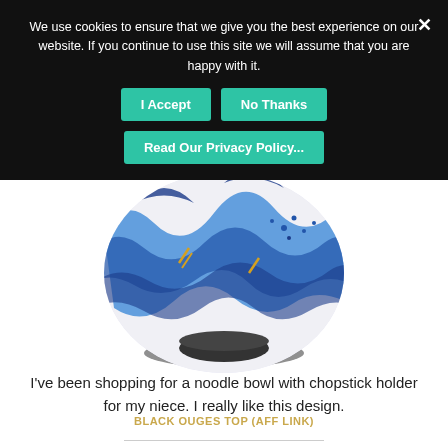We use cookies to ensure that we give you the best experience on our website. If you continue to use this site we will assume that you are happy with it.
[Figure (photo): A decorative ceramic bowl with blue and white wave pattern inspired by Hokusai's 'The Great Wave', with a dark base, photographed on a white background.]
I've been shopping for a noodle bowl with chopstick holder for my niece. I really like this design.
BLACK OUGES TOP (AFF LINK)